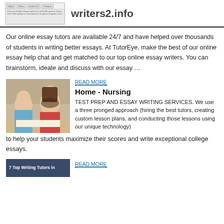[Figure (screenshot): Screenshot of a website with navigation tabs (About, News, Contact Us, Products) and text about checking English writing using a free online ESL grammar checker.]
writers2.info
Our online essay tutors are available 24/7 and have helped over thousands of students in writing better essays. At TutorEye, make the best of our online essay help chat and get matched to our top online essay writers. You can brainstorm, ideate and discuss with our essay …
[Figure (photo): Two students, a man in blue shirt and a woman in red top, studying together over papers.]
READ MORE
Home - Nursing
TEST PREP AND ESSAY WRITING SERVICES. We use a three pronged approach (hiring the best tutors, creating custom lesson plans, and conducting those lessons using our unique technology) to help your students maximize their scores and write exceptional college essays.
[Figure (screenshot): Banner image with text '7 Top Writing Tutors in']
READ MORE